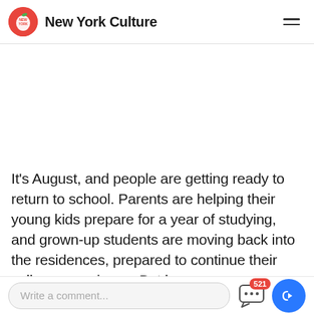New York Culture
It's August, and people are getting ready to return to school. Parents are helping their young kids prepare for a year of studying, and grown-up students are moving back into the residences, prepared to continue their college experience. But have you ever wondered how it feels to be barred from highe